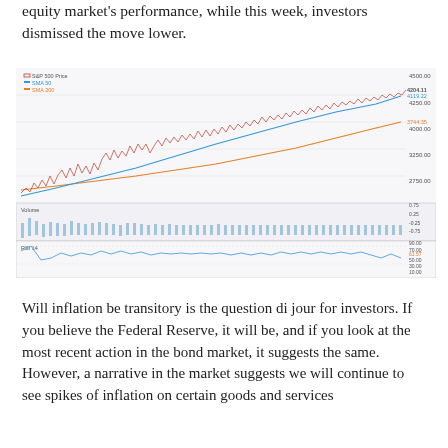equity market's performance, while this week, investors dismissed the move lower.
[Figure (continuous-plot): S&P 500 price chart with SMA 50 (blue) and SMA 200 (orange) moving averages from Jul 2020 to May 2021, showing an uptrend from ~2750 to ~4204. Below is a Volume panel and an RSI 14 panel. The price ends at 4204.11, SMA50 at 4119.22, SMA200 at 3744.35. RSI 14 ends at 61.57.]
Will inflation be transitory is the question di jour for investors.  If you believe the Federal Reserve, it will be, and if you look at the most recent action in the bond market, it suggests the same.  However, a narrative in the market suggests we will continue to see spikes of inflation on certain goods and services